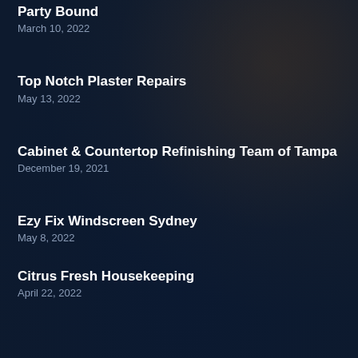Party Bound
March 10, 2022
Top Notch Plaster Repairs
May 13, 2022
Cabinet & Countertop Refinishing Team of Tampa
December 19, 2021
Ezy Fix Windscreen Sydney
May 8, 2022
Citrus Fresh Housekeeping
April 22, 2022